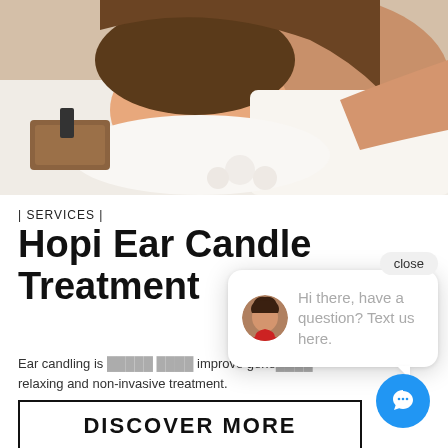[Figure (photo): Woman receiving a spa/massage treatment, lying face-down on white towels with spa products visible in background]
| SERVICES |
Hopi Ear Candle Treatment
Ear candling is ... improve general ... relaxing and non-invasive treatment.
[Figure (screenshot): Chat popup widget with close button, avatar of woman, message 'Hi there, have a question? Text us here.' and blue chat bubble button]
DISCOVER MORE